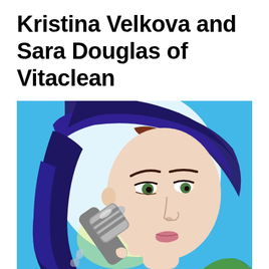Kristina Velkova and Sara Douglas of Vitaclean
[Figure (illustration): Illustrated/stylized digital artwork of a woman with reddish-brown hair wrapped in a dark purple/navy towel on her head, holding a showerhead filter (a cylindrical metallic object), with green eyes, wearing a green garment, against a bright blue background with a large white circular glow behind her head.]